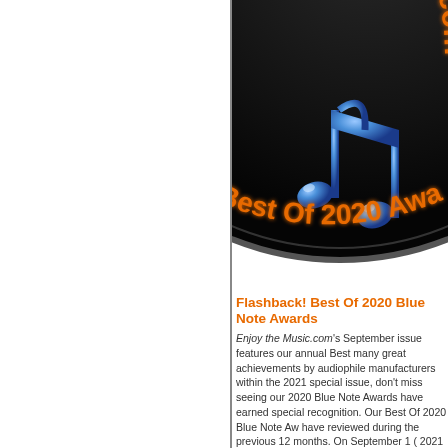[Figure (illustration): Circular black award badge with orange arc text reading 'EnjoyTheMusic.com' at top and 'Best Of 2020 Awards' at bottom, with a blue metallic musical note icon in the center.]
Flashback! Best Of 2020 Blue Note Awards
Enjoy the Music.com's September issue features our annual Best many great achievements by audiophile manufacturers within the 2021 special issue, don't miss seeing our 2020 Blue Note Awards have earned special recognition. Our Best Of 2020 Blue Note Aw have reviewed during the previous 12 months. On September 1 ( 2021 Blue Note Awards for the world to see! As always... enjoy t
---> Read our Best of 2020 Blue Note Awards.